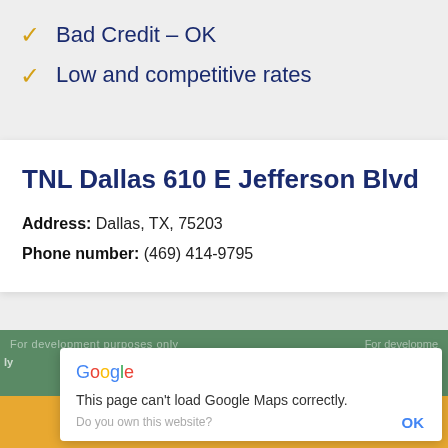✓ Bad Credit – OK
✓ Low and competitive rates
TNL Dallas 610 E Jefferson Blvd
Address: Dallas, TX, 75203
Phone number: (469) 414-9795
[Figure (screenshot): Google Maps error dialog saying 'This page can't load Google Maps correctly.' with OK button, overlaid on a map background with 'For development purposes only' watermark text]
GET A FREE ESTIMATE